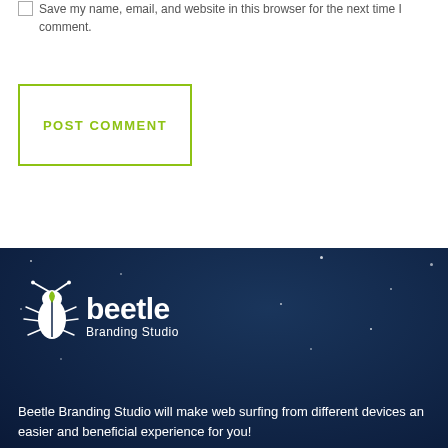Save my name, email, and website in this browser for the next time I comment.
POST COMMENT
[Figure (logo): Beetle Branding Studio logo — white text and beetle icon on dark blue background]
Beetle Branding Studio will make web surfing from different devices an easier and beneficial experience for you!